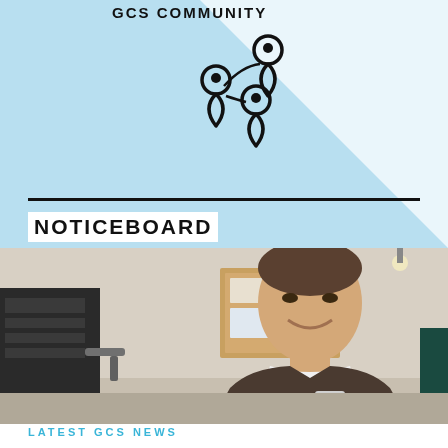GCS COMMUNITY
[Figure (illustration): Three interconnected location pin icons forming a network/community symbol, drawn as black outline on light blue background]
NOTICEBOARD
[Figure (photo): A smiling middle-aged man in a dark grey sweater operating a professional espresso coffee machine in what appears to be a cafe or office setting. Cork bulletin board visible in background.]
LATEST GCS NEWS